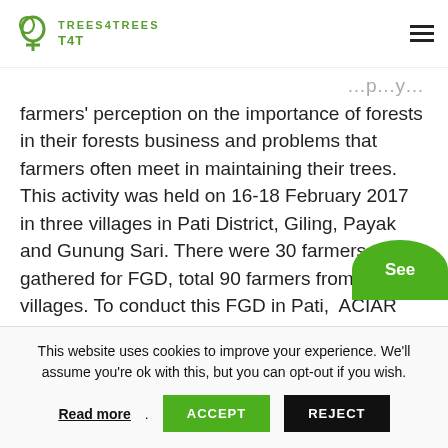TREES4TREES T4T
farmers' perception on the importance of forests in their forests business and problems that farmers often meet in maintaining their trees. This activity was held on 16-18 February 2017 in three villages in Pati District, Giling, Payak and Gunung Sari. There were 30 farmers gathered for FGD, total 90 farmers from 3 villages. To conduct this FGD in Pati, ACIAR appointed Trees4Trees team and Foerdia Team from Bogor.
[Figure (other): Green semicircle button with text 'See']
This website uses cookies to improve your experience. We'll assume you're ok with this, but you can opt-out if you wish.
Read more. ACCEPT REJECT